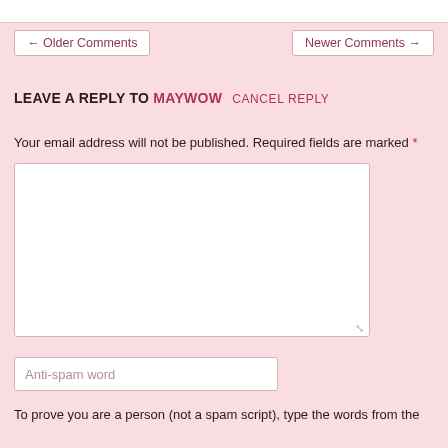← Older Comments
Newer Comments →
LEAVE A REPLY TO MAYWOW   CANCEL REPLY
Your email address will not be published. Required fields are marked *
Anti-spam word
To prove you are a person (not a spam script), type the words from the